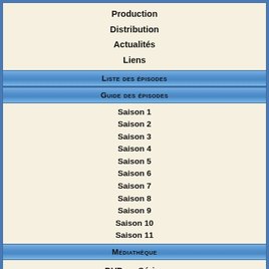Production
Distribution
Actualités
Liens
Liste des épisodes
Guide des épisodes
Saison 1
Saison 2
Saison 3
Saison 4
Saison 5
Saison 6
Saison 7
Saison 8
Saison 9
Saison 10
Saison 11
Médiathèque
DVD en Séries
Presse en Séries